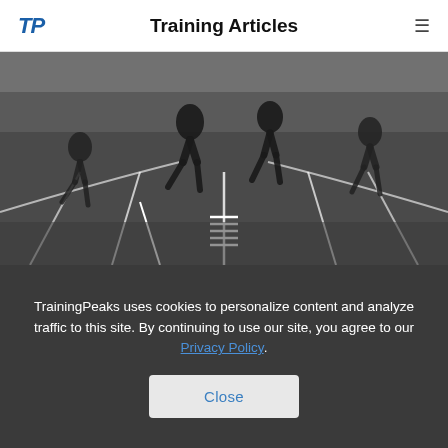TP   Training Articles   ≡
[Figure (photo): Black and white photo of runners on a track, viewed from behind, showing multiple athletes running in lanes with lane markings visible]
TrainingPeaks uses cookies to personalize content and analyze traffic to this site. By continuing to use our site, you agree to our Privacy Policy.
Close